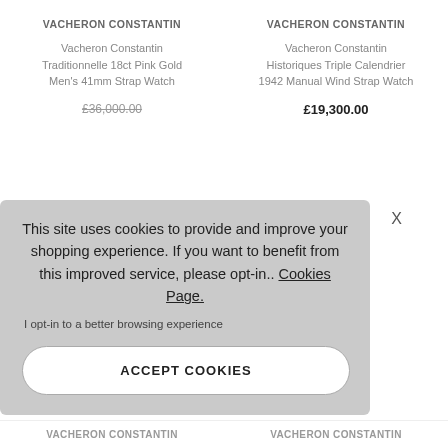VACHERON CONSTANTIN
Vacheron Constantin Traditionnelle 18ct Pink Gold Men's 41mm Strap Watch
VACHERON CONSTANTIN
Vacheron Constantin Historiques Triple Calendrier 1942 Manual Wind Strap Watch
£19,300.00
This site uses cookies to provide and improve your shopping experience. If you want to benefit from this improved service, please opt-in.. Cookies Page.
I opt-in to a better browsing experience
ACCEPT COOKIES
VACHERON CONSTANTIN
VACHERON CONSTANTIN